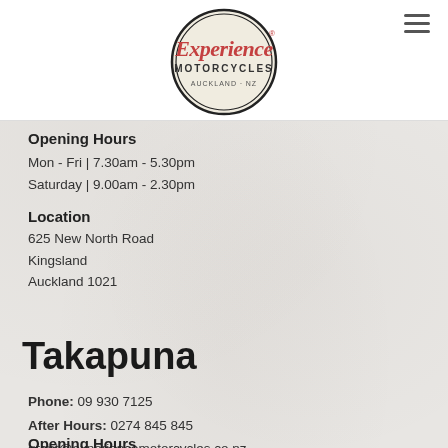[Figure (logo): Experience Motorcycles circular logo with red script text and 'MOTORCYCLES' text, cream/beige background with black circular border]
Opening Hours
Mon - Fri | 7.30am - 5.30pm
Saturday | 9.00am - 2.30pm
Location
625 New North Road
Kingsland
Auckland 1021
Takapuna
Phone: 09 930 7125
After Hours: 0274 845 845
grant@experiencemotorcycles.co.nz
Opening Hours